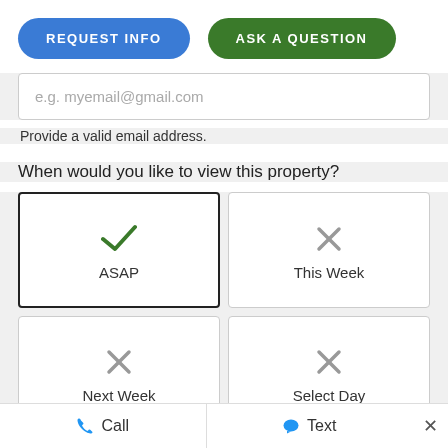[Figure (screenshot): Two pill-shaped buttons: 'REQUEST INFO' in blue and 'ASK A QUESTION' in green]
[Figure (screenshot): Email input field with placeholder 'e.g. myemail@gmail.com']
Provide a valid email address.
When would you like to view this property?
[Figure (screenshot): Four option boxes: ASAP (selected with green checkmark), This Week (gray X), Next Week (gray X), Select Day (gray X)]
[Figure (screenshot): Bottom bar with Call and Text buttons and a close X button]